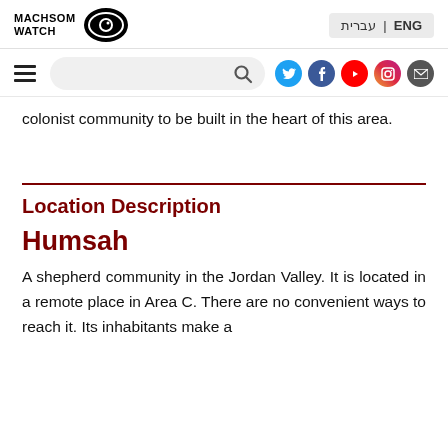MACHSOM WATCH | ENG | עברית
colonist community to be built in the heart of this area.
Location Description
Humsah
A shepherd community in the Jordan Valley. It is located in a remote place in Area C. There are no convenient ways to reach it. Its inhabitants make a